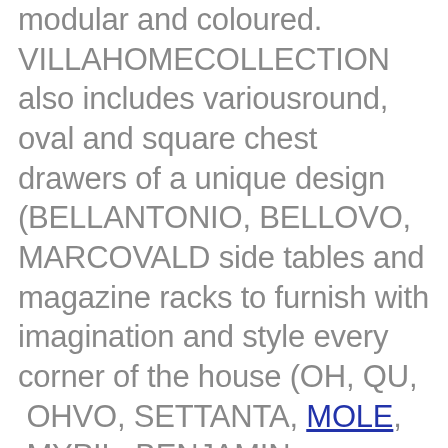modular and coloured. VILLAHOMECOLLECTION also includes variousround, oval and square chest drawers of a unique design (BELLANTONIO, BELLOVO, MARCOVALD side tables and magazine racks to furnish with imagination and style every corner of the house (OH, QU, OHVO, SETTANTA, MOLE, MYPIL, BENJAMIN, PAPILLON); wooden containers of various shapes and dimensions (LOLA, QUADRELLA, SWEDEN, SUOMI, PINKETTA, PINQUADRO, PINKOVO). The wood